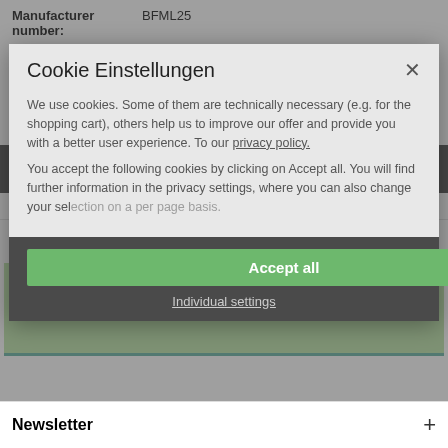Manufacturer number: BFML25
Advantages
Free delivery on orders over € 100, -
Shipping within 24 hours *
30 days money back guarantee
[Figure (screenshot): Two WhatsApp buttons: 'Share on WhatsApp' and 'WhatsApp Inquiry' on a dark background]
Google Analytics: Tracking and Analysis
Description
men-ü FACIAL MOISTURISER LIFT buddy Tube 15ml Shaving can damage up to two layers of...more
Cookie Einstellungen
We use cookies. Some of them are technically necessary (e.g. for the shopping cart), others help us to improve our offer and provide you with a better user experience. To our privacy policy.
You accept the following cookies by clicking on Accept all. You will find further information in the privacy settings, where you can also change your selection on a per page basis.
Google Analytics: Tracking and Analysis
Accept all
Individual settings
Newsletter